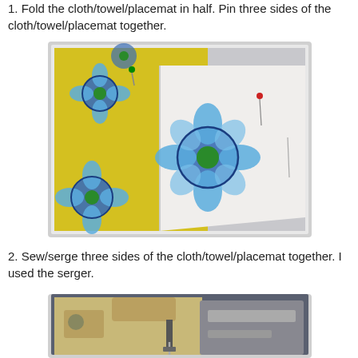1. Fold the cloth/towel/placemat in half. Pin three sides of the cloth/towel/placemat together.
[Figure (photo): Photo of a cloth/placemat with blue flower pattern on yellow and white background, pinned together with sewing pins.]
2. Sew/serge three sides of the cloth/towel/placemat together. I used the serger.
[Figure (photo): Photo of a sewing machine/serger, partially visible, showing the needle and presser foot area.]